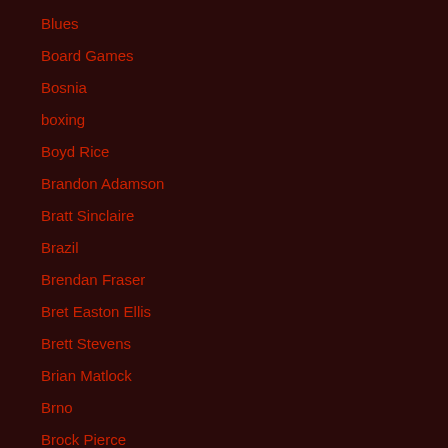Blues
Board Games
Bosnia
boxing
Boyd Rice
Brandon Adamson
Bratt Sinclaire
Brazil
Brendan Fraser
Bret Easton Ellis
Brett Stevens
Brian Matlock
Brno
Brock Pierce
BROKE